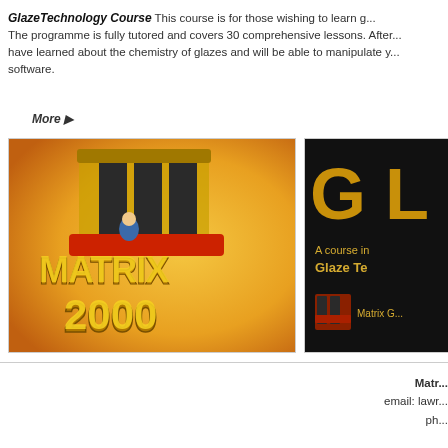GlazeTechnology Course This course is for those wishing to learn g... The programme is fully tutored and covers 30 comprehensive lessons. After... have learned about the chemistry of glazes and will be able to manipulate y... software.
More ▶
[Figure (screenshot): Matrix 2000 software box art - orange/yellow background with gold 3D text reading MATRIX 2000 and a stylized kiln or pottery device above]
[Figure (screenshot): Black background with gold GL letters visible, text reading 'A course in Glaze Te...' and Matrix G... logo at bottom]
Matr... email: lawr... ph...